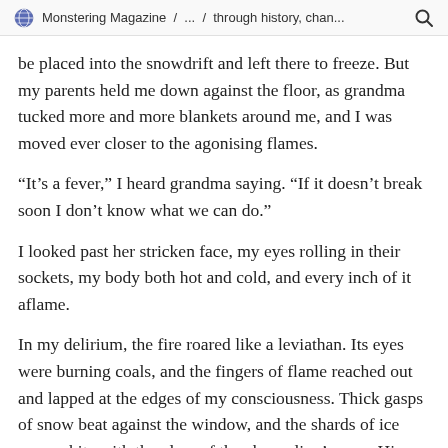Monstering Magazine / ... / through history, chan...
be placed into the snowdrift and left there to freeze. But my parents held me down against the floor, as grandma tucked more and more blankets around me, and I was moved ever closer to the agonising flames.
“It’s a fever,” I heard grandma saying. “If it doesn’t break soon I don’t know what we can do.”
I looked past her stricken face, my eyes rolling in their sockets, my body both hot and cold, and every inch of it aflame.
In my delirium, the fire roared like a leviathan. Its eyes were burning coals, and the fingers of flame reached out and lapped at the edges of my consciousness. Thick gasps of snow beat against the window, and the shards of ice were white with the glow of the changeling’s eyes. His fingers